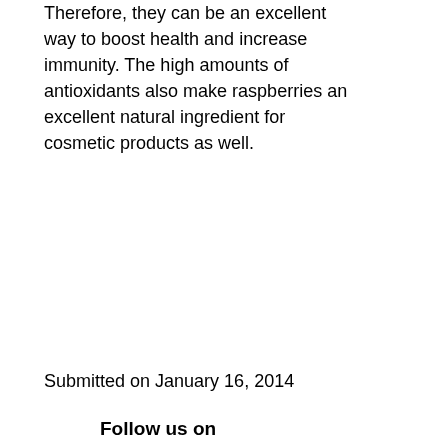Therefore, they can be an excellent way to boost health and increase immunity. The high amounts of antioxidants also make raspberries an excellent natural ingredient for cosmetic products as well.
Submitted on January 16, 2014
Follow us on